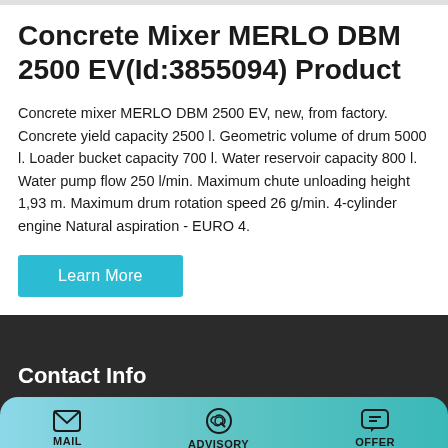Concrete Mixer MERLO DBM 2500 EV(Id:3855094) Product
Concrete mixer MERLO DBM 2500 EV, new, from factory. Concrete yield capacity 2500 l. Geometric volume of drum 5000 l. Loader bucket capacity 700 l. Water reservoir capacity 800 l. Water pump flow 250 l/min. Maximum chute unloading height 1,93 m. Maximum drum rotation speed 26 g/min. 4-cylinder engine Natural aspiration - EURO 4.
Learn More
Contact Info
Gaoxingu Area, Zhengzhou,Henan,China